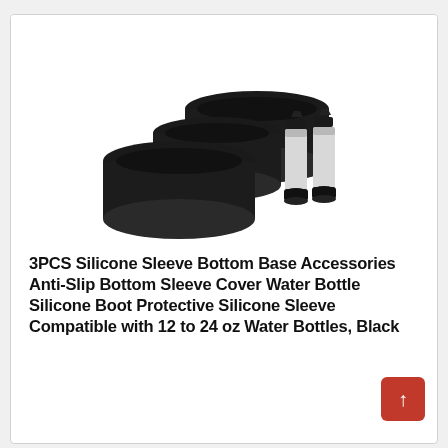[Figure (photo): Three black silicone sleeve/boot rings of different sizes arranged in a staggered ascending pattern, with two small silver water bottles with black caps shown to the right, demonstrating the product usage.]
3PCS Silicone Sleeve Bottom Base Accessories Anti-Slip Bottom Sleeve Cover Water Bottle Silicone Boot Protective Silicone Sleeve Compatible with 12 to 24 oz Water Bottles, Black